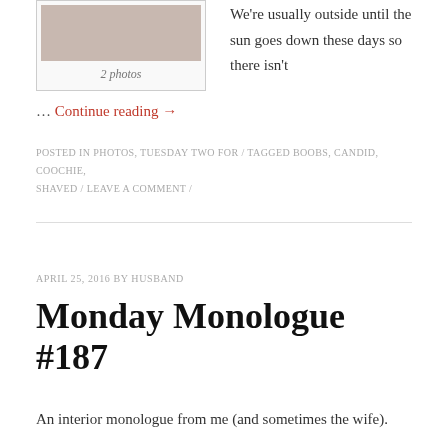[Figure (photo): A photo thumbnail showing two people, partially cropped at top]
2 photos
We're usually outside until the sun goes down these days so there isn't
… Continue reading →
POSTED IN PHOTOS, TUESDAY TWO FOR / TAGGED BOOBS, CANDID, COOCHIE, SHAVED / LEAVE A COMMENT /
APRIL 25, 2016 BY HUSBAND
Monday Monologue #187
An interior monologue from me (and sometimes the wife).